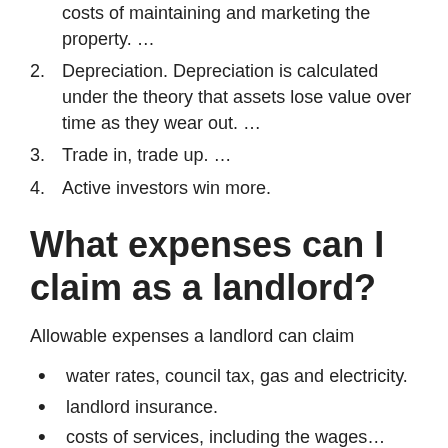costs of maintaining and marketing the property. …
Depreciation. Depreciation is calculated under the theory that assets lose value over time as they wear out. …
Trade in, trade up. …
Active investors win more.
What expenses can I claim as a landlord?
Allowable expenses a landlord can claim
water rates, council tax, gas and electricity.
landlord insurance.
costs of services, including the wages…